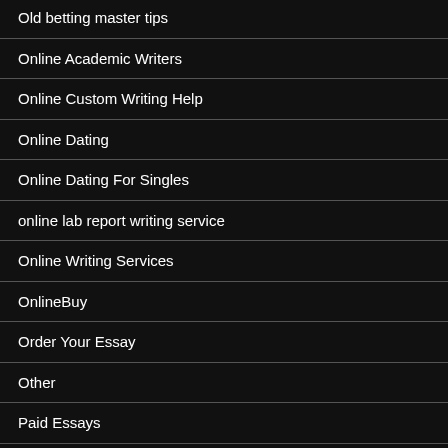Old betting master tips
Online Academic Writers
Online Custom Writing Help
Online Dating
Online Dating For Singles
online lab report writing service
Online Writing Services
OnlineBuy
Order Your Essay
Other
Paid Essays
Paid Essays Sites
Paper Writers